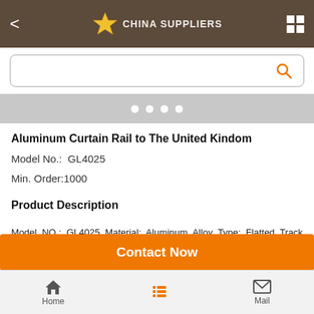CHINA SUPPLIERS
[Figure (screenshot): Search bar with orange search icon]
[Figure (other): Carousel indicator dots on grey background]
Aluminum Curtain Rail to The United Kindom
Model No.:  GL4025
Min. Order:1000
Product Description
Model NO.: GL4025 Material: Aluminum Alloy Type: Flatted Track Color: Matt/Bright Silver/Gold, Bronze, etc. Size: as Customer Required Specification: SGS HS Code: 7604299000 Mounting: Side Mounting Track Number: Single
Contact Now
Home  Mail